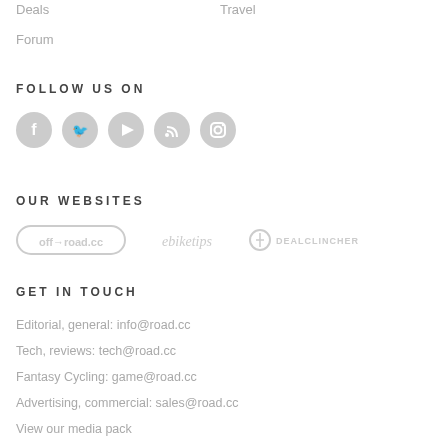Deals
Travel
Forum
FOLLOW US ON
[Figure (infographic): Five social media icons in grey circles: Facebook, Twitter, YouTube, RSS, Instagram]
OUR WEBSITES
[Figure (logo): Three website logos: off-road.cc, ebiketips, dealclincher — shown in light grey]
GET IN TOUCH
Editorial, general: info@road.cc
Tech, reviews: tech@road.cc
Fantasy Cycling: game@road.cc
Advertising, commercial: sales@road.cc
View our media pack